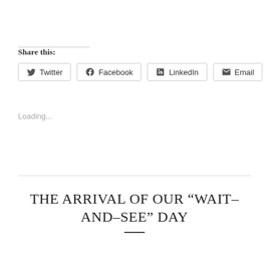Share this:
Twitter  Facebook  LinkedIn  Email
Loading...
THE ARRIVAL OF OUR “WAIT-AND-SEE” DAY